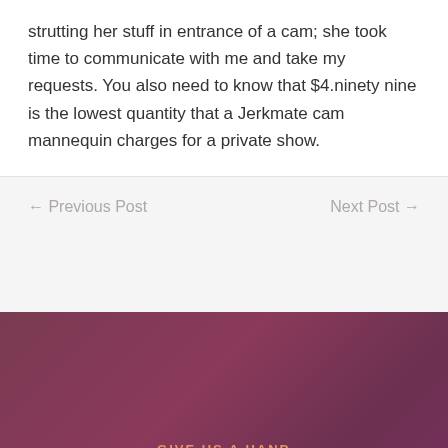strutting her stuff in entrance of a cam; she took time to communicate with me and take my requests. You also need to know that $4.ninety nine is the lowest quantity that a Jerkmate cam mannequin charges for a private show.
← Previous Post
Next Post →
GIVE US A HAND
Support us and